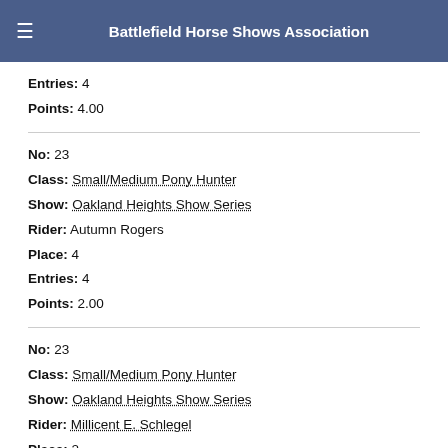Battlefield Horse Shows Association
Entries: 4
Points: 4.00
No: 23
Class: Small/Medium Pony Hunter
Show: Oakland Heights Show Series
Rider: Autumn Rogers
Place: 4
Entries: 4
Points: 2.00
No: 23
Class: Small/Medium Pony Hunter
Show: Oakland Heights Show Series
Rider: Millicent E. Schlegel
Place: 2
Entries: 3
Points: 6.00
No: 22
Class: Small/Medium Pony Hunter